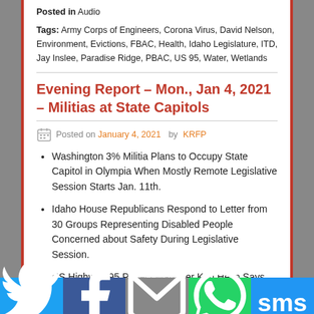Posted in Audio
Tags: Army Corps of Engineers, Corona Virus, David Nelson, Environment, Evictions, FBAC, Health, Idaho Legislature, ITD, Jay Inslee, Paradise Ridge, PBAC, US 95, Water, Wetlands
Evening Report – Mon., Jan 4, 2021 – Militias at State Capitols
Posted on January 4, 2021 by KRFP
Washington 3% Militia Plans to Occupy State Capitol in Olympia When Mostly Remote Legislative Session Starts Jan. 11th.
Idaho House Republicans Respond to Letter from 30 Groups Representing Disabled People Concerned about Safety During Legislative Session.
US Highway 95 Project Manager Ken Helm Says He Expected Idaho Transportation Board to Obtain…